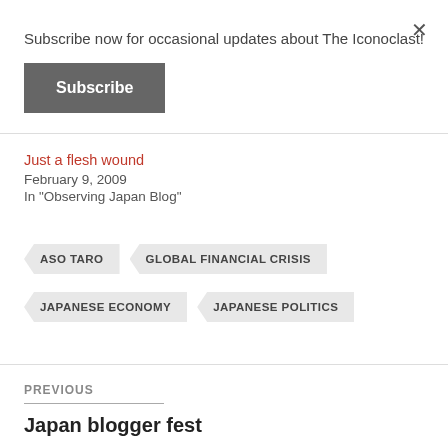Subscribe now for occasional updates about The Iconoclast!
Subscribe
×
Just a flesh wound
February 9, 2009
In "Observing Japan Blog"
ASO TARO
GLOBAL FINANCIAL CRISIS
JAPANESE ECONOMY
JAPANESE POLITICS
PREVIOUS
Japan blogger fest